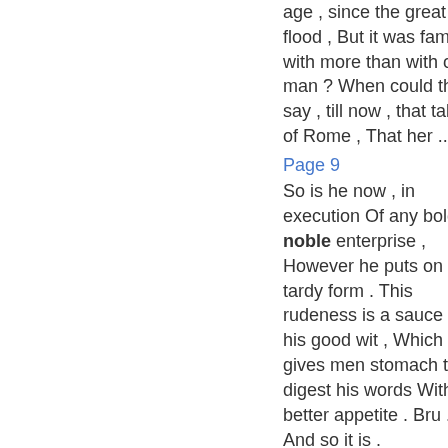age , since the great flood , But it was famed with more than with one man ? When could they say , till now , that talk'd of Rome , That her ...
Page 9
So is he now , in execution Of any bold or noble enterprise , However he puts on this tardy form . This rudeness is a sauce to his good wit , Which gives men stomach to digest his words With better appetite . Bru . And so it is .
Page 15
Yes , every man of them ; and no man here , But honours you ; and every one doth wish , You had but that opinion of